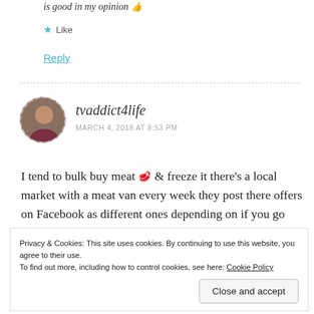is good in my opinion 👍
★ Like
Reply
tvaddict4life
MARCH 4, 2018 AT 8:53 PM
I tend to bulk buy meat 🥩 & freeze it there's a local market with a meat van every week they post there offers on Facebook as different ones depending on if you go
Privacy & Cookies: This site uses cookies. By continuing to use this website, you agree to their use.
To find out more, including how to control cookies, see here: Cookie Policy
Close and accept